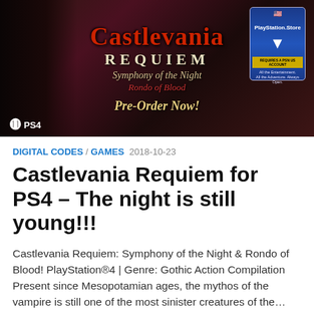[Figure (photo): Castlevania Requiem for PS4 promotional image showing game cover art with gothic theme, characters, and a PlayStation Store gift card]
DIGITAL CODES / GAMES 2018-10-23
Castlevania Requiem for PS4 – The night is still young!!!
Castlevania Requiem: Symphony of the Night & Rondo of Blood! PlayStation®4 | Genre: Gothic Action Compilation Present since Mesopotamian ages, the mythos of the vampire is still one of the most sinister creatures of the…